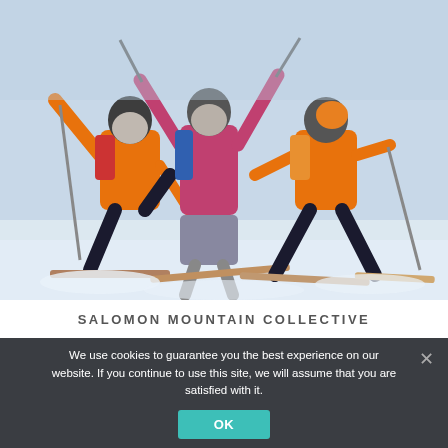[Figure (photo): Three skiers in orange and pink jackets posing playfully in the snow with ski poles and skis, arms raised, on a snowy mountain slope.]
SALOMON MOUNTAIN COLLECTIVE
We use cookies to guarantee you the best experience on our website. If you continue to use this site, we will assume that you are satisfied with it.